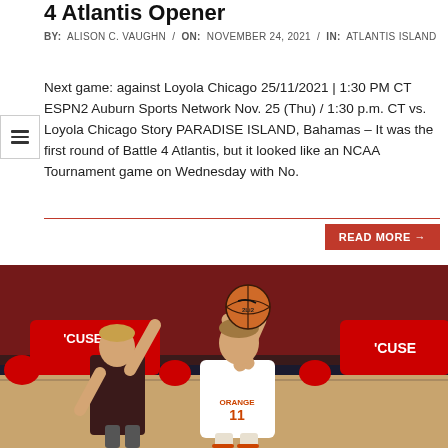4 Atlantis Opener
BY: ALISON C. VAUGHN / ON: NOVEMBER 24, 2021 / IN: ATLANTIS ISLAND
Next game: against Loyola Chicago 25/11/2021 | 1:30 PM CT ESPN2 Auburn Sports Network Nov. 25 (Thu) / 1:30 p.m. CT vs. Loyola Chicago Story PARADISE ISLAND, Bahamas – It was the first round of Battle 4 Atlantis, but it looked like an NCAA Tournament game on Wednesday with No.
[Figure (photo): Basketball player wearing orange jersey number 11 with 'ORANGE' text, holding a basketball above his head in a shooting stance. Another player with hand raised in defense. Arena background with 'CUSE 44' scoreboard signage visible.]